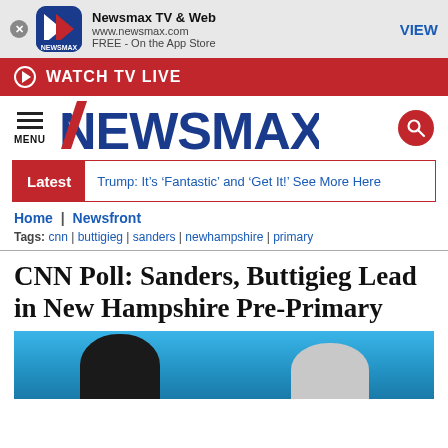[Figure (screenshot): Newsmax app banner with icon, app name, URL, and VIEW button]
WATCH TV LIVE
[Figure (logo): NEWSMAX logo with menu icon and search button]
Latest  Trump: It’s ‘Fantastic’ and ‘Get It!’ See More Here
Home | Newsfront
Tags: cnn | buttigieg | sanders | newhampshire | primary
CNN Poll: Sanders, Buttigieg Lead in New Hampshire Pre-Primary
[Figure (photo): Photo of two people (Buttigieg and Sanders) against blue background]